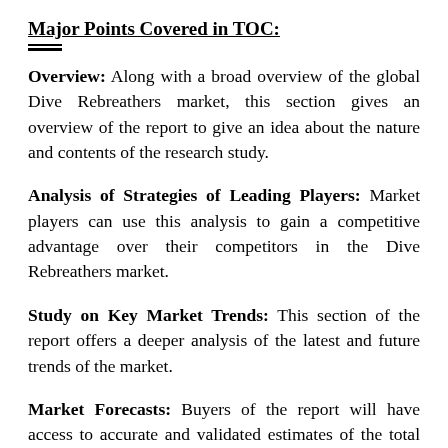Major Points Covered in TOC:
Overview: Along with a broad overview of the global Dive Rebreathers market, this section gives an overview of the report to give an idea about the nature and contents of the research study.
Analysis of Strategies of Leading Players: Market players can use this analysis to gain a competitive advantage over their competitors in the Dive Rebreathers market.
Study on Key Market Trends: This section of the report offers a deeper analysis of the latest and future trends of the market.
Market Forecasts: Buyers of the report will have access to accurate and validated estimates of the total market size in terms of value and volume. The report